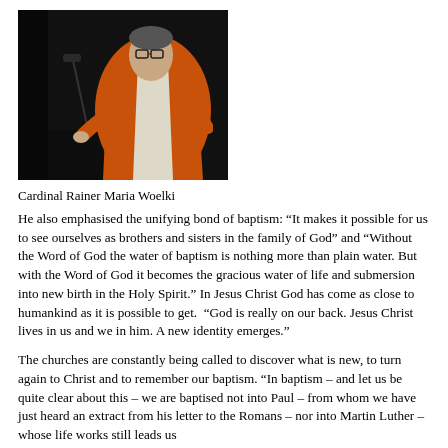[Figure (photo): A cardinal in orange and white vestments speaking at a podium/lectern, photographed from slightly below in a dark interior setting.]
Cardinal Rainer Maria Woelki
He also emphasised the unifying bond of baptism: “It makes it possible for us to see ourselves as brothers and sisters in the family of God” and “Without the Word of God the water of baptism is nothing more than plain water. But with the Word of God it becomes the gracious water of life and submersion into new birth in the Holy Spirit.” In Jesus Christ God has come as close to humankind as it is possible to get.  “God is really on our back. Jesus Christ lives in us and we in him. A new identity emerges.”
The churches are constantly being called to discover what is new, to turn again to Christ and to remember our baptism. “In baptism – and let us be quite clear about this – we are baptised not into Paul – from whom we have just heard an extract from his letter to the Romans – nor into Martin Luther – whose life works still leads us